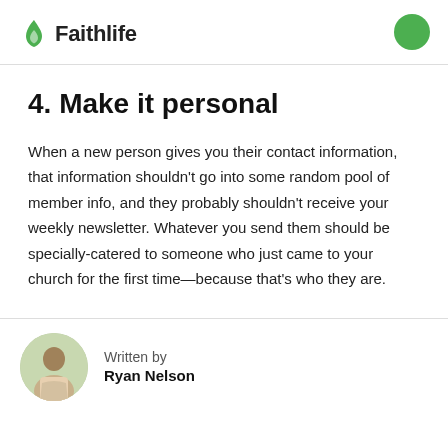Faithlife
4. Make it personal
When a new person gives you their contact information, that information shouldn't go into some random pool of member info, and they probably shouldn't receive your weekly newsletter. Whatever you send them should be specially-catered to someone who just came to your church for the first time—because that's who they are.
Written by
Ryan Nelson